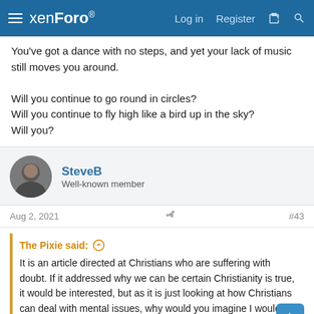xenForo  Log in  Register
You've got a dance with no steps, and yet your lack of music still moves you around.

Will you continue to go round in circles?
Will you continue to fly high like a bird up in the sky?
Will you?
SteveB
Well-known member
Aug 2, 2021  #43
The Pixie said: ↑
It is an article directed at Christians who are suffering with doubt. If it addressed why we can be certain Christianity is true, it would be interested, but as it is just looking at how Christians can deal with mental issues, why would you imagine I would care at all?
Then you've already decided that there's nothing to discuss with